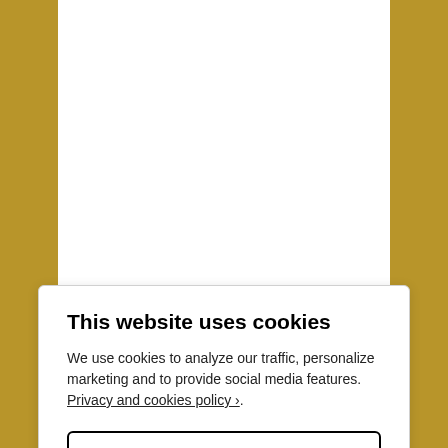tang I mentioned in the London Pale Ale. I'm not alone either; I've seen it mentioned in reviews of various of their beers elsewhere – I wonder if it's an aspect of the mineral content of their water supply or something?
This website uses cookies
We use cookies to analyze our traffic, personalize marketing and to provide social media features. Privacy and cookies policy ›.
Only Necessary
Allow All Cookies
Configure Settings ›
fields are marked *